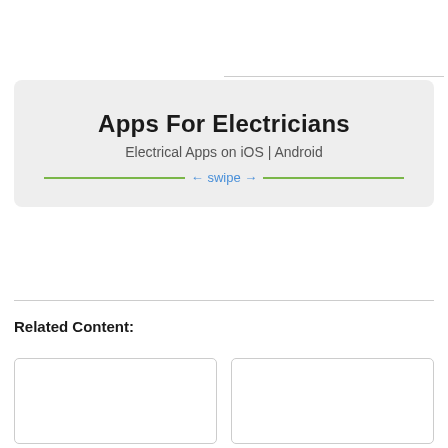[Figure (infographic): Banner box with gray background showing 'Apps For Electricians' title, subtitle 'Electrical Apps on iOS | Android', and a green horizontal line with blue swipe arrows text in the center]
Related Content:
[Figure (other): Empty white card placeholder (left)]
[Figure (other): Empty white card placeholder (right)]